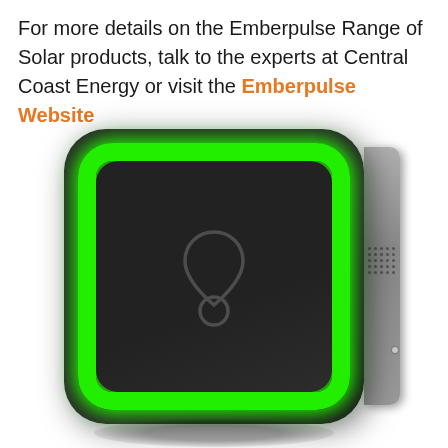For more details on the Emberpulse Range of Solar products, talk to the experts at Central Coast Energy or visit the Emberpulse Website
[Figure (photo): Photo of an Emberpulse solar energy monitoring device — a dark square unit with rounded corners, a bright green LED ring around its face, a logo (teardrop/circle symbol) on the front panel, and a silver side panel with ventilation grille. Device is shown at a slight angle on a white background.]